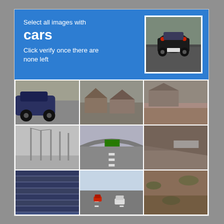Select all images with
cars
Click verify once there are none left
[Figure (photo): A dark car viewed from behind on a street, selected (white border highlight)]
[Figure (photo): Side view of a dark blue car parked near a road]
[Figure (photo): Noisy/grainy image of a residential area with houses]
[Figure (photo): Noisy/grainy image of a building exterior with fence]
[Figure (photo): Tall lighting poles or antenna masts near water]
[Figure (photo): Highway overpass/bridge seen from below on a road]
[Figure (photo): Noisy/grainy close-up of a sloped surface or road embankment]
[Figure (photo): Aerial or elevated view of a large parking lot filled with cars]
[Figure (photo): Road scene with a red car and white car driving]
[Figure (photo): Close-up of a textured ground or gravel surface with some vegetation]